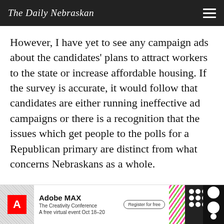The Daily Nebraskan
However, I have yet to see any campaign ads about the candidates' plans to attract workers to the state or increase affordable housing. If the survey is accurate, it would follow that candidates are either running ineffective ad campaigns or there is a recognition that the issues which get people to the polls for a Republican primary are distinct from what concerns Nebraskans as a whole.
With a turnout of less than a quarter of eligible voters in the last primary, it is clear something needs to change. Herbster, the current frontrunner in the race,
[Figure (advertisement): Adobe MAX - The Creativity Conference advertisement banner with colorful patterns and register button]